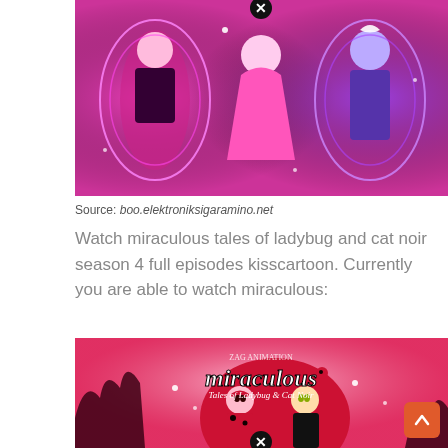[Figure (illustration): Animated characters from Miraculous - three figures standing with glowing purple/pink energy effects in background]
Source: boo.elektroniksigaramino.net
Watch miraculous tales of ladybug and cat noir season 4 full episodes kisscartoon. Currently you are able to watch miraculous:
[Figure (illustration): Miraculous - Tales of Ladybug & Cat Noir show logo with animated characters Ladybug and Cat Noir on pink background with red circular frame]